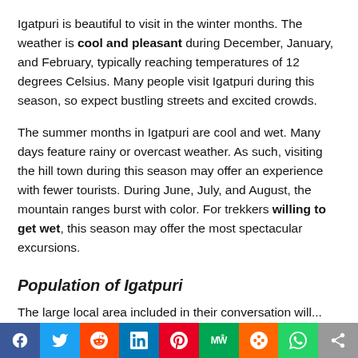Igatpuri is beautiful to visit in the winter months. The weather is cool and pleasant during December, January, and February, typically reaching temperatures of 12 degrees Celsius. Many people visit Igatpuri during this season, so expect bustling streets and excited crowds.
The summer months in Igatpuri are cool and wet. Many days feature rainy or overcast weather. As such, visiting the hill town during this season may offer an experience with fewer tourists. During June, July, and August, the mountain ranges burst with color. For trekkers willing to get wet, this season may offer the most spectacular excursions.
Population of Igatpuri
The large local area included in their conversation will...
Social share bar: Facebook, Twitter, Reddit, LinkedIn, Pinterest, MeWe, Mix, WhatsApp, Share